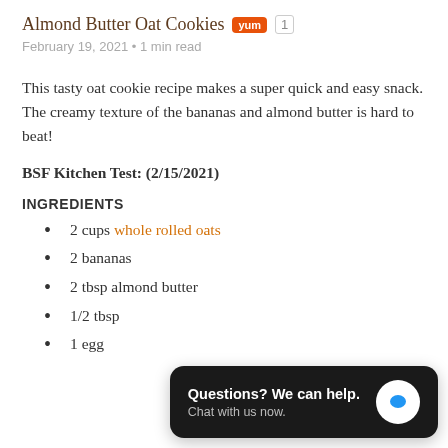Almond Butter Oat Cookies
February 19, 2021 • 1 min read
This tasty oat cookie recipe makes a super quick and easy snack. The creamy texture of the bananas and almond butter is hard to beat!
BSF Kitchen Test: (2/15/2021)
INGREDIENTS
2 cups whole rolled oats
2 bananas
2 tbsp almond butter
1/2 tbsp
1 egg
[Figure (screenshot): Chat widget overlay: 'Questions? We can help. Chat with us now.' with a blue chat bubble icon on a dark background.]